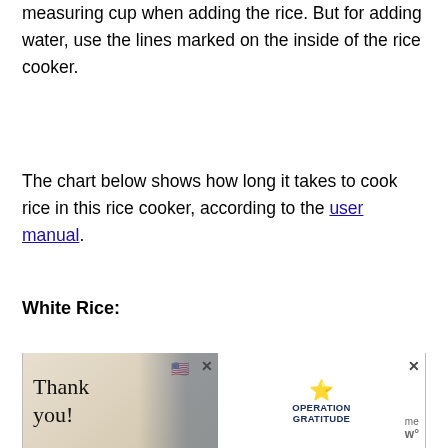With this machine, you use a standard measuring cup when adding the rice. But for adding water, use the lines marked on the inside of the rice cooker.
The chart below shows how long it takes to cook rice in this rice cooker, according to the user manual.
White Rice:
| Amount of | Amount of | Cooking |
| --- | --- | --- |
[Figure (other): Advertisement overlay showing 'Thank you!' text with US flag imagery and 'Operation Gratitude' logo with a close button and timer.]